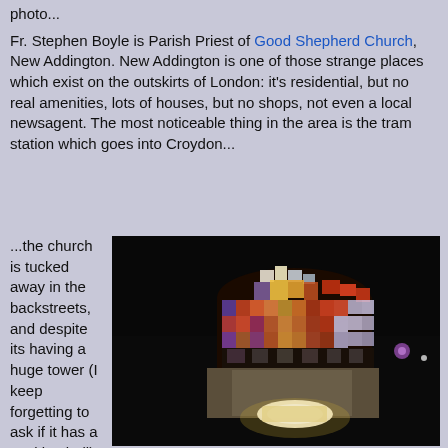photo...
Fr. Stephen Boyle is Parish Priest of Good Shepherd Church, New Addington. New Addington is one of those strange places which exist on the outskirts of London: it's residential, but no real amenities, lots of houses, but no shops, not even a local newsagent. The most noticeable thing in the area is the tram station which goes into Croydon...
...the church is tucked away in the backstreets, and despite its having a huge tower (I keep forgetting to ask if it has a working bell), you wouldn't find it unless
[Figure (photo): Night photograph of the illuminated stained glass window of Good Shepherd Church, showing a colourful mosaic-style window with a figure (Christ as Good Shepherd) against a dark sky, with a glowing light visible at the bottom of the tower.]